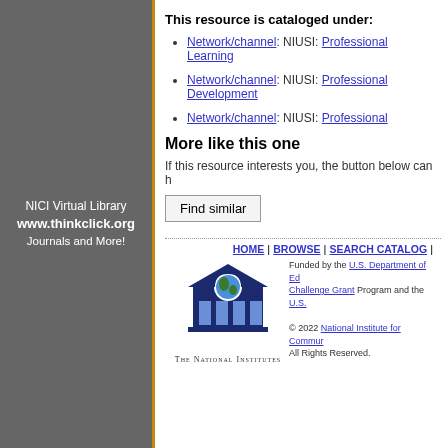NICI Virtual Library
www.thinkclick.org
Journals and More!
This resource is cataloged under:
Network/channel: NIUSI: Professional Learning
Network/channel: NIUSI: Professional Development
Network/channel: NIUSI: Professional
More like this one
If this resource interests you, the button below can h
Find similar
HOME | BROWSE | SEARCH CATALOG |
Funded by the U.S. Department of Education Challenge Grant Program and the U.S.
© 2022 National Institute for Community All Rights Reserved.
THE NATIONAL INSTITUTES